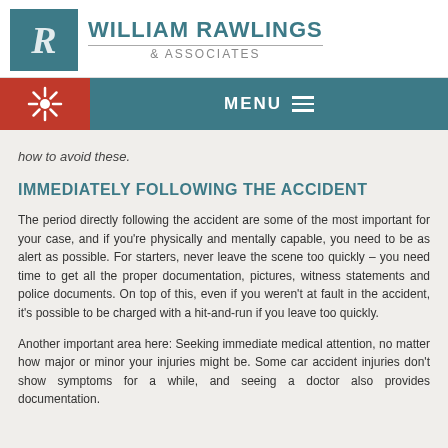[Figure (logo): William Rawlings & Associates law firm logo with teal square containing stylized R and firm name]
MENU
how to avoid these.
IMMEDIATELY FOLLOWING THE ACCIDENT
The period directly following the accident are some of the most important for your case, and if you're physically and mentally capable, you need to be as alert as possible. For starters, never leave the scene too quickly – you need time to get all the proper documentation, pictures, witness statements and police documents. On top of this, even if you weren't at fault in the accident, it's possible to be charged with a hit-and-run if you leave too quickly.
Another important area here: Seeking immediate medical attention, no matter how major or minor your injuries might be. Some car accident injuries don't show symptoms for a while, and seeing a doctor also provides documentation.